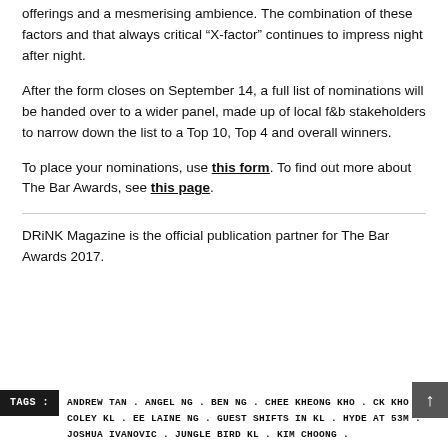offerings and a mesmerising ambience. The combination of these factors and that always critical “X-factor” continues to impress night after night.
After the form closes on September 14, a full list of nominations will be handed over to a wider panel, made up of local f&b stakeholders to narrow down the list to a Top 10, Top 4 and overall winners.
To place your nominations, use this form. To find out more about The Bar Awards, see this page.
DRiNK Magazine is the official publication partner for The Bar Awards 2017.
TAGS : ANDREW TAN . ANGEL NG . BEN NG . CHEE KHEONG KHO . CK KHO . COLEY KL . EE LAINE NG . GUEST SHIFTS IN KL . HYDE AT 53M . JOSHUA IVANOVIC . JUNGLE BIRD KL . KIM CHOONG .